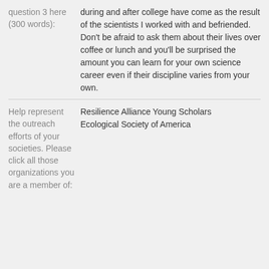question 3 here (300 words): during and after college have come as the result of the scientists I worked with and befriended. Don't be afraid to ask them about their lives over coffee or lunch and you'll be surprised the amount you can learn for your own science career even if their discipline varies from your own.
Help represent the outreach efforts of your societies. Please click all those organizations you are a member of: Resilience Alliance Young Scholars Ecological Society of America